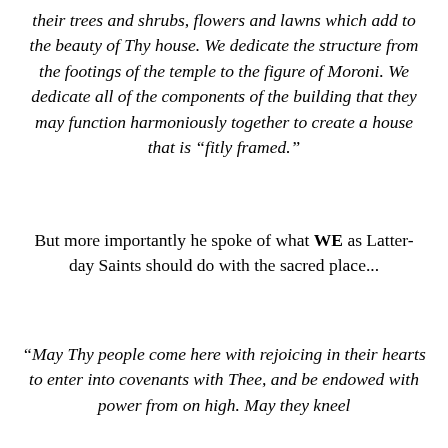their trees and shrubs, flowers and lawns which add to the beauty of Thy house. We dedicate the structure from the footings of the temple to the figure of Moroni. We dedicate all of the components of the building that they may function harmoniously together to create a house that is “fitly framed.”
But more importantly he spoke of what WE as Latter-day Saints should do with the sacred place...
“May Thy people come here with rejoicing in their hearts to enter into covenants with Thee, and be endowed with power from on high. May they kneel